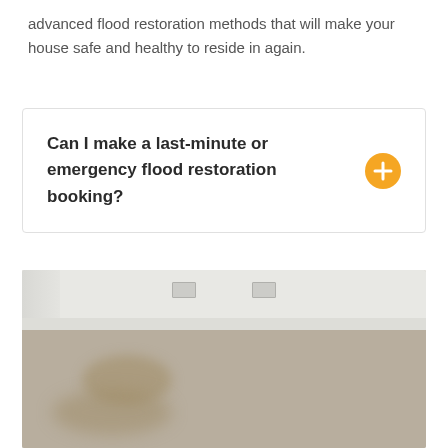advanced flood restoration methods that will make your house safe and healthy to reside in again.
Can I make a last-minute or emergency flood restoration booking?
[Figure (photo): Interior room photo showing a corner with white walls, baseboard, power outlets, and wet/stained carpet in shades of beige and grey-brown.]